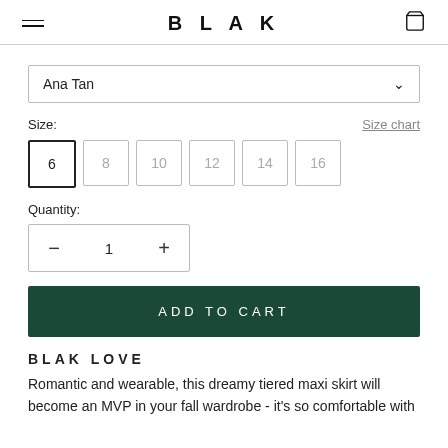BLAK
Ana Tan
Size:
Size chart
6  8  10  12  14  16
Quantity:
1
ADD TO CART
BLAK LOVE
Romantic and wearable, this dreamy tiered maxi skirt will become an MVP in your fall wardrobe - it's so comfortable with